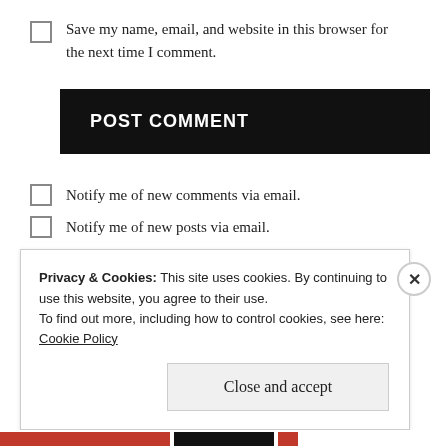Save my name, email, and website in this browser for the next time I comment.
POST COMMENT
Notify me of new comments via email.
Notify me of new posts via email.
Privacy & Cookies: This site uses cookies. By continuing to use this website, you agree to their use.
To find out more, including how to control cookies, see here: Cookie Policy
Close and accept